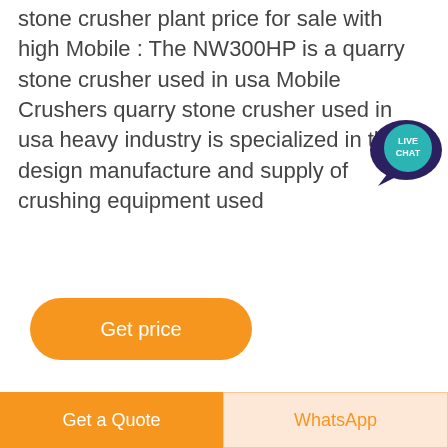stone crusher plant price for sale with high Mobile : The NW300HP is a quarry stone crusher used in usa Mobile Crushers quarry stone crusher used in usa heavy industry is specialized in the design manufacture and supply of crushing equipment used
[Figure (other): Live Chat bubble icon with speech bubble shape in dark navy/purple color with teal circle showing 'LIVE CHAT' text]
[Figure (other): Orange rounded rectangle button with white text 'Get price']
[Figure (photo): Photo of industrial stone crushing equipment against a cloudy blue sky]
[Figure (other): Dark circular scroll-up button with upward chevron arrow]
[Figure (other): Bottom navigation bar with orange 'Get a Quote' button on the left and light orange 'WhatsApp' button on the right]